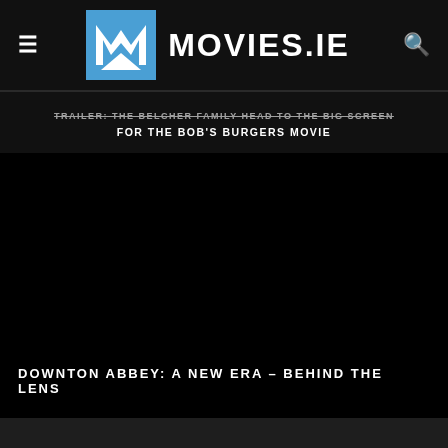[Figure (screenshot): Movies.IE website navigation bar with hamburger menu, Movies.IE logo (blue M icon with black MOVIES.IE text), and search icon]
TRAILER: THE BELCHER FAMILY HEAD TO THE BIG SCREEN FOR THE BOB'S BURGERS MOVIE
[Figure (screenshot): Dark/black video thumbnail for Downton Abbey: A New Era - Behind The Lens]
DOWNTON ABBEY: A NEW ERA – BEHIND THE LENS